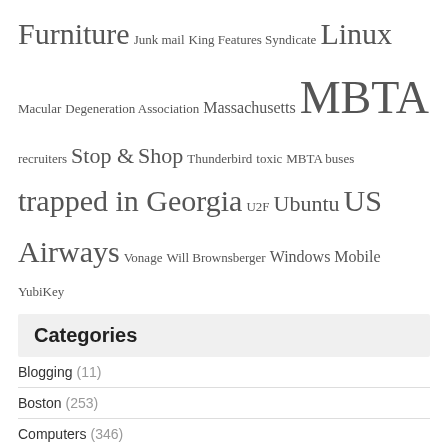Furniture Junk mail King Features Syndicate Linux Macular Degeneration Association Massachusetts MBTA recruiters Stop & Shop Thunderbird toxic MBTA buses trapped in Georgia U2F Ubuntu US Airways Vonage Will Brownsberger Windows Mobile YubiKey
Categories
Blogging (11)
Boston (253)
Computers (346)
Computer Security (68)
Free software (33)
Internet (240)
email (25)
Spam (44)